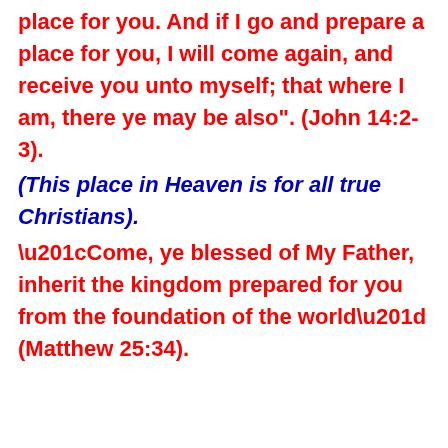place for you. And if I go and prepare a place for you, I will come again, and receive you unto myself; that where I am, there ye may be also". (John 14:2-3).
(This place in Heaven is for all true Christians).
“Come, ye blessed of My Father, inherit the kingdom prepared for you from the foundation of the world” (Matthew 25:34).